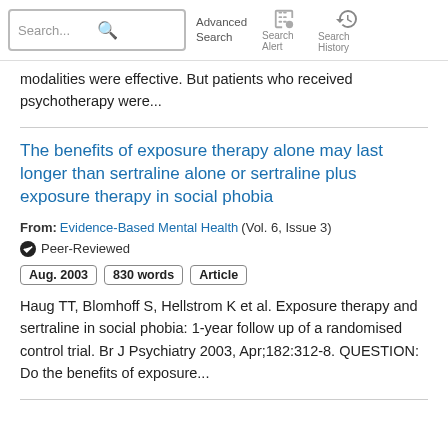Search... Advanced Search | Search Alert | Search History
modalities were effective. But patients who received psychotherapy were...
The benefits of exposure therapy alone may last longer than sertraline alone or sertraline plus exposure therapy in social phobia
From: Evidence-Based Mental Health (Vol. 6, Issue 3) ✔ Peer-Reviewed
Aug. 2003   830 words   Article
Haug TT, Blomhoff S, Hellstrom K et al. Exposure therapy and sertraline in social phobia: 1-year follow up of a randomised control trial. Br J Psychiatry 2003, Apr;182:312-8. QUESTION: Do the benefits of exposure...